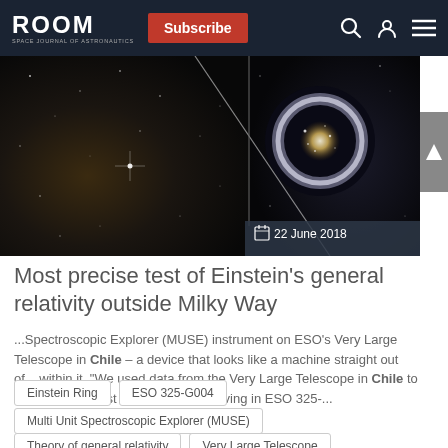ROOM | Subscribe
[Figure (photo): Space/astronomy image showing stars and an Einstein ring galaxy, composite of two images, dated 22 June 2018]
Most precise test of Einstein's general relativity outside Milky Way
...Spectroscopic Explorer (MUSE) instrument on ESO's Very Large Telescope in Chile – a device that looks like a machine straight out of... within it. "We used data from the Very Large Telescope in Chile to measure how fast the stars were moving in ESO 325-...
Einstein Ring
ESO 325-G004
Multi Unit Spectroscopic Explorer (MUSE)
Theory of general relativity
Very Large Telescope